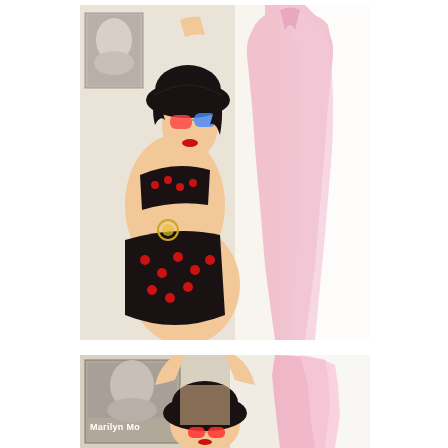[Figure (photo): Woman wearing a black wide-brim hat, colorful sunglasses, and a black cherry-print bikini posing in a room. Behind her on the right is a pink dress hanging near a bright window. A poster is visible on the left wall.]
[Figure (photo): Same woman from a different angle, arms raised above her head, wearing the same black hat and sunglasses. A Marilyn Monroe poster is visible on the wall to the left, and the pink dress is visible on the right.]